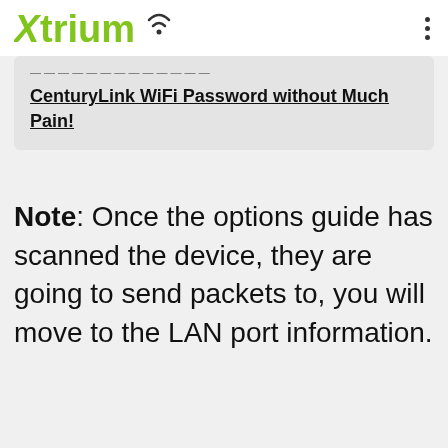Xtrium
CenturyLink WiFi Password without Much Pain!
Note: Once the options guide has scanned the device, they are going to send packets to, you will move to the LAN port information.
[Figure (photo): Thank you Operation Gratitude advertisement banner with firefighters]
[Figure (photo): Walgreens Fall Favorites BOGO Free Select Vitamins and Supplements advertisement]